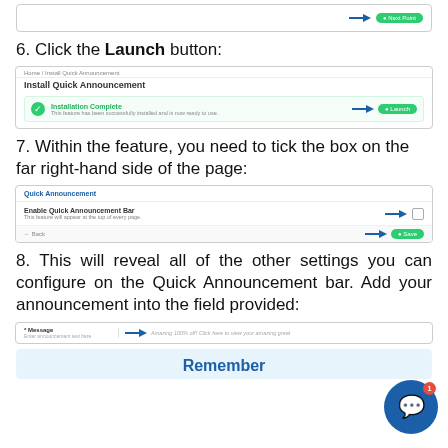[Figure (screenshot): Partial screenshot showing a Next button with blue arrow at top of page]
6. Click the Launch button:
[Figure (screenshot): Screenshot of Install Quick Announcement page showing Installation Complete message with green check and Launch button with blue arrow]
7. Within the feature, you need to tick the box on the far right-hand side of the page:
[Figure (screenshot): Screenshot of Quick Announcement settings page showing Enable Quick Announcement Bar toggle with blue arrows pointing to checkbox and Save button]
8. This will reveal all of the other settings you can configure on the Quick Announcement bar. Add your announcement into the field provided:
[Figure (screenshot): Screenshot of Message field with blue arrow pointing to text input area]
Remember